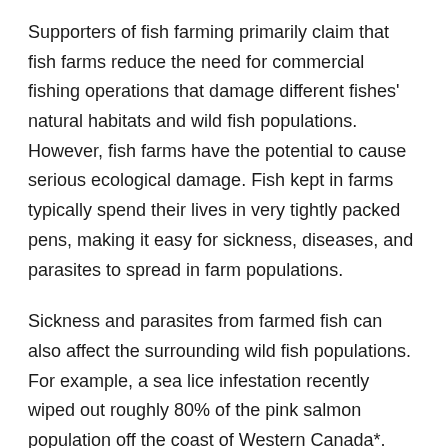Supporters of fish farming primarily claim that fish farms reduce the need for commercial fishing operations that damage different fishes' natural habitats and wild fish populations. However, fish farms have the potential to cause serious ecological damage. Fish kept in farms typically spend their lives in very tightly packed pens, making it easy for sickness, diseases, and parasites to spread in farm populations.
Sickness and parasites from farmed fish can also affect the surrounding wild fish populations. For example, a sea lice infestation recently wiped out roughly 80% of the pink salmon population off the coast of Western Canada*. This contamination could easily affect local wild fish populations which will then harm the predatory species that depend on those fish as food sources, such as birds, bears, and killer whales.